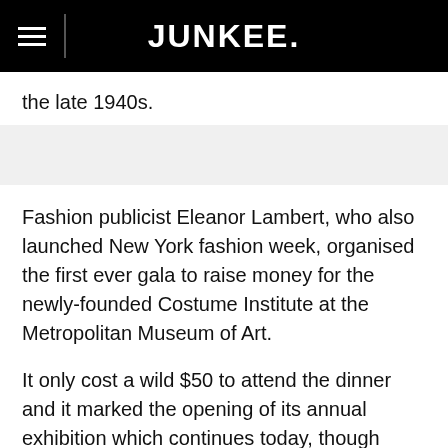JUNKEE.
the late 1940s.
Fashion publicist Eleanor Lambert, who also launched New York fashion week, organised the first ever gala to raise money for the newly-founded Costume Institute at the Metropolitan Museum of Art.
It only cost a wild $50 to attend the dinner and it marked the opening of its annual exhibition which continues today, though behind closed doors once